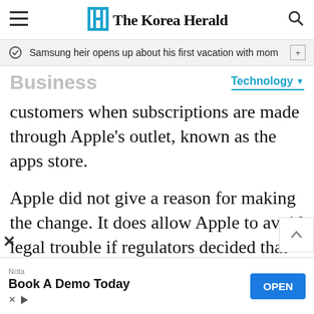The Korea Herald
Samsung heir opens up about his first vacation with mom
Business
Technology
customers when subscriptions are made through Apple's outlet, known as the apps store.
Apple did not give a reason for making the change. It does allow Apple to avoid legal trouble if regulators decided that the policies represented an attempt to control prices in still-developing market for mobile
Nota
Book A Demo Today
OPEN